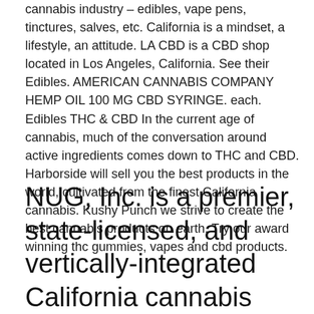cannabis industry – edibles, vape pens, tinctures, salves, etc. California is a mindset, a lifestyle, an attitude. LA CBD is a CBD shop located in Los Angeles, California. See their Edibles. AMERICAN CANNABIS COMPANY HEMP OIL 100 MG CBD SYRINGE. each. Edibles THC & CBD In the current age of cannabis, much of the conversation around active ingredients comes down to THC and CBD. Harborside will sell you the best products in the world, cultivated from the finest California cannabis. Kushy Punch we strive to create the best cannabis products on earth. Try our award winning thc gummies, vapes and cbd products.
NUG, Inc. is a premier, state-licensed, and vertically-integrated California cannabis NUG's leaders are pioneers and innovators in the cannabis industry,